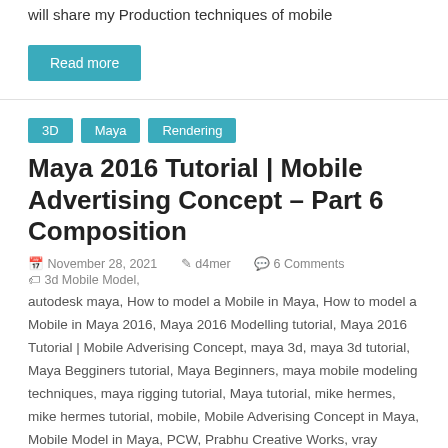will share my Production techniques of mobile
Read more
3D  Maya  Rendering
Maya 2016 Tutorial | Mobile Advertising Concept – Part 6 Composition
November 28, 2021  d4mer  6 Comments  3d Mobile Model, autodesk maya, How to model a Mobile in Maya, How to model a Mobile in Maya 2016, Maya 2016 Modelling tutorial, Maya 2016 Tutorial | Mobile Adverising Concept, maya 3d, maya 3d tutorial, Maya Begginers tutorial, Maya Beginners, maya mobile modeling techniques, maya rigging tutorial, Maya tutorial, mike hermes, mike hermes tutorial, mobile, Mobile Adverising Concept in Maya, Mobile Model in Maya, PCW, Prabhu Creative Works, vray